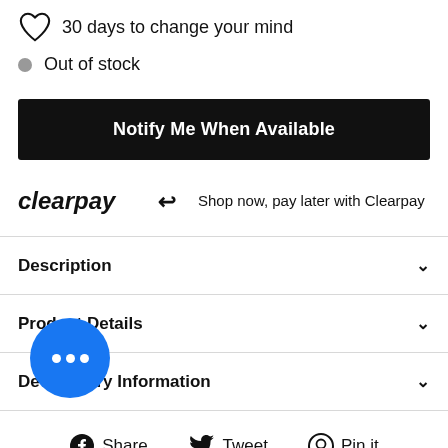30 days to change your mind
Out of stock
Notify Me When Available
clearpay  Shop now, pay later with Clearpay
Description
Product Details
Delivery Information
[Figure (other): Blue circular chat bubble button with three white dots]
Share  Tweet  Pin it